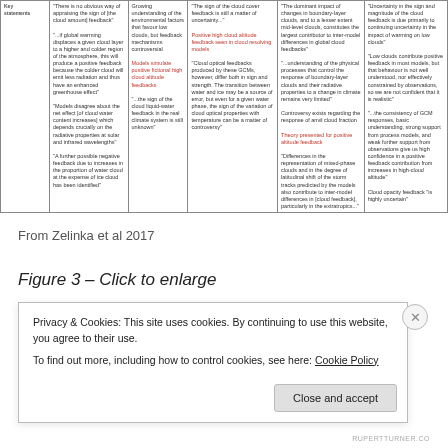| Key statements | Col1 | Col2 | Col3 | Col4 | Col5 |
| --- | --- | --- | --- | --- | --- |
| Key statements | "There is no obvious way of appraising the sign of [the cloud amount] feedback"
"...if global warming displaces a given cloud layer to a higher and colder region of the atmosphere, this will produce a positive feedback because the colder cloud will emit less radiation and thus have an enhanced greenhouse effect"
"Models disagree about the net effect [of cloud water content increases] which depends crucially on the radiative properties at solar and infrared wavelengths"
"A further possible negative feedback due to increases in the proportion of water cloud at the expense of ice cloud has been identified" | Growing understanding of the environmental factors that favour low clouds, but feedback mechanisms controversial
Models simulate positive fictional high cloud altitude feedbacks
"...the sign of the cloud liquid-water feedback in the real climate system is still unknown" | "The sign of the cloud cover feedback is still a matter of uncertainty..."
Positive high cloud altitude feedback seen in cloud resolving models
"Cloud optical feedbacks produced by these GCMs, however, differ both in sign and strength. The transition between water and ice may be a source of error, but even for a given water phase, the sign of the variation of cloud optical properties with temperature can be a matter of controversy" | "The dominant impact of changes in boundary-layer clouds, and to a lesser extent mid-level clouds, constitutes the largest contributor to inter-model differences in global cloud feedbacks"
"...understanding of the physical processes that control the response of boundary-layer clouds and their radiative properties to a change in climate remains very limited"
Controversy exists regarding the response of anvil cloud fraction
Theory presented for positive altitude feedback
"Differences in the representation of mixed-phase clouds and in the degree of latitudinal shift of the storm tracks predicted by the models also contribute to inter-model differences in [cloud feedback], particularly in the extratropics..." | "Uncertainty in the sign and magnitude of the cloud feedback is due primarily to continuing uncertainty in the impact of warming on low clouds"
"Low clouds contribute positive feedback in most models, but that behaviour is not well understood, nor effectively constrained by observations, so we are not confident that it is realistic"
"...the consistency of GCM responses, basic understanding, strong support from process models, and weak further support from observations give us high confidence in a positive feedback contribution from increases in high-cloud altitude"
Cloud opacity feedback "is highly uncertain" |
From Zelinka et al 2017
Figure 3 – Click to enlarge
Privacy & Cookies: This site uses cookies. By continuing to use this website, you agree to their use.
To find out more, including how to control cookies, see here: Cookie Policy
Close and accept